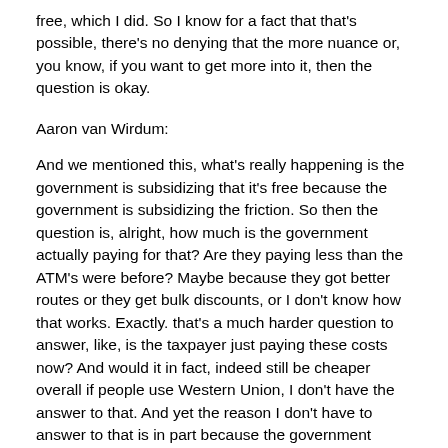free, which I did. So I know for a fact that that's possible, there's no denying that the more nuance or, you know, if you want to get more into it, then the question is okay.
Aaron van Wirdum:
And we mentioned this, what's really happening is the government is subsidizing that it's free because the government is subsidizing the friction. So then the question is, alright, how much is the government actually paying for that? Are they paying less than the ATM's were before? Maybe because they got better routes or they get bulk discounts, or I don't know how that works. Exactly. that's a much harder question to answer, like, is the taxpayer just paying these costs now? And would it in fact, indeed still be cheaper overall if people use Western Union, I don't have the answer to that. And yet the reason I don't have to answer to that is in part because the government again is not giving any transparency when it comes to these kinds of things. They're not, they didn't put out a research report where they detail what it was costing them exactly to do this or what it was costing them before to get